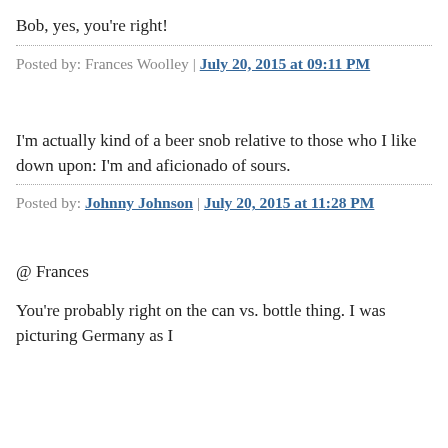Bob, yes, you're right!
Posted by: Frances Woolley | July 20, 2015 at 09:11 PM
I'm actually kind of a beer snob relative to those who I like down upon: I'm and aficionado of sours.
Posted by: Johnny Johnson | July 20, 2015 at 11:28 PM
@ Frances
You're probably right on the can vs. bottle thing. I was picturing Germany as I